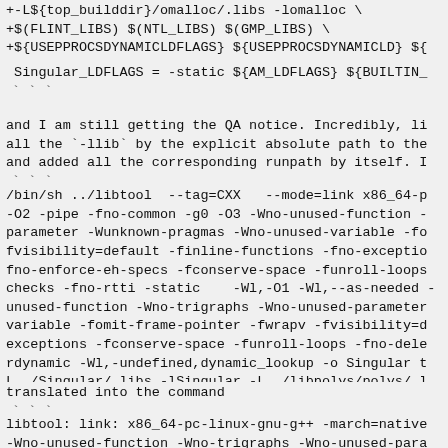+-L${top_builddir}/omalloc/.libs -lomalloc \
+$(FLINT_LIBS) $(NTL_LIBS) $(GMP_LIBS) \
+${USEPPROCSDYNAMICLDFLAGS} ${USEPPROCSDYNAMICLD} ${...
Singular_LDFLAGS = -static ${AM_LDFLAGS} ${BUILTIN_...
`...`
and I am still getting the QA notice. Incredibly, li...
all the `-llib` by the explicit absolute path to the...
and added all the corresponding runpath by itself. I...
`...`
/bin/sh ../libtool  --tag=CXX   --mode=link x86_64-p...
-O2 -pipe -fno-common -g0 -O3 -Wno-unused-function -...
parameter -Wunknown-pragmas -Wno-unused-variable -fo...
fvisibility=default -finline-functions -fno-exceptio...
fno-enforce-eh-specs -fconserve-space -funroll-loops...
checks -fno-rtti -static    -Wl,-O1 -Wl,--as-needed ...
unused-function -Wno-trigraphs -Wno-unused-parameter...
variable -fomit-frame-pointer -fwrapv -fvisibility=d...
exceptions -fconserve-space -funroll-loops -fno-dele...
rdynamic -Wl,-undefined,dynamic_lookup -o Singular t...
L../Singular/.libs -lSingular -L../libpolys/polys/.l...
-lfactory -L../resources/.libs -lsingular_resources...
lflint -lmpfr -lgmp -lntl -lgmp  -ldl  -lreadline -l...
lpthread
`...`
translated into the command
`...`
libtool: link: x86_64-pc-linux-gnu-g++ -march=native...
-Wno-unused-function -Wno-trigraphs -Wno-unused-para...
unused-variable -fomit-frame-pointer -fwrapv -fvisib...